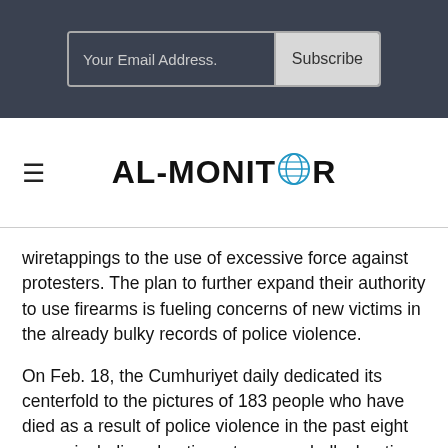[Figure (screenshot): Email subscription bar with 'Your Email Address.' input field and 'Subscribe' button on dark background]
[Figure (logo): AL-MONITOR logo with globe icon replacing the O, with hamburger menu icon on the left]
wiretappings to the use of excessive force against protesters. The plan to further expand their authority to use firearms is fueling concerns of new victims in the already bulky records of police violence.
On Feb. 18, the Cumhuriyet daily dedicated its centerfold to the pictures of 183 people who have died as a result of police violence in the past eight years, including shootings, tear gas shells, beatings and maltreatment in custody. They included 12 people killed during the 2013